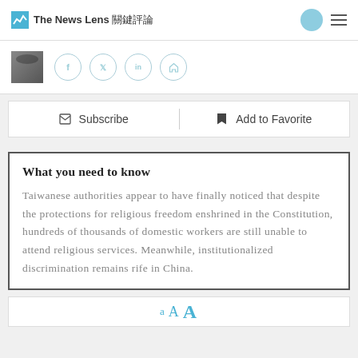The News Lens 關鍵評論
[Figure (screenshot): Author photo thumbnail with social share icons: Facebook, Twitter, LinkedIn, Home]
Subscribe | Add to Favorite
What you need to know
Taiwanese authorities appear to have finally noticed that despite the protections for religious freedom enshrined in the Constitution, hundreds of thousands of domestic workers are still unable to attend religious services. Meanwhile, institutionalized discrimination remains rife in China.
[Figure (other): Font size selector showing: a A A in blue/teal color]